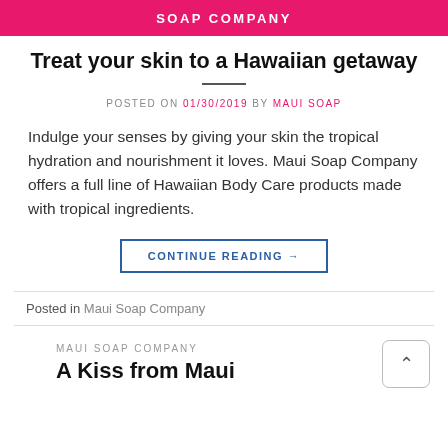SOAP COMPANY
Treat your skin to a Hawaiian getaway
POSTED ON 01/30/2019 BY MAUI SOAP
Indulge your senses by giving your skin the tropical hydration and nourishment it loves. Maui Soap Company offers a full line of Hawaiian Body Care products made with tropical ingredients.
CONTINUE READING →
Posted in Maui Soap Company
MAUI SOAP COMPANY
A Kiss from Maui